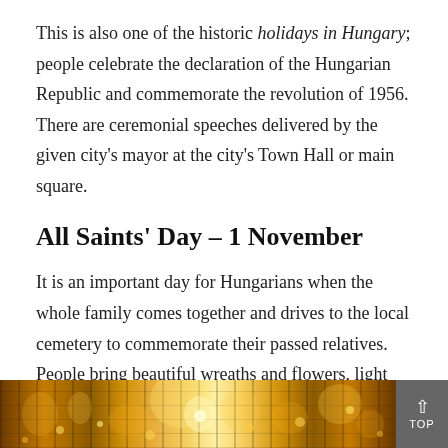This is also one of the historic holidays in Hungary; people celebrate the declaration of the Hungarian Republic and commemorate the revolution of 1956. There are ceremonial speeches delivered by the given city's mayor at the city's Town Hall or main square.
All Saints' Day – 1 November
It is an important day for Hungarians when the whole family comes together and drives to the local cemetery to commemorate their passed relatives. People bring beautiful wreaths and flowers, light candles on the tombs. The cemetery looks the most gorgeous after 6 p.m. when thousands of candles are flickering in the gloomy night
[Figure (photo): Night photograph of a cemetery with hundreds of candles flickering, glowing warm golden light in a dark setting]